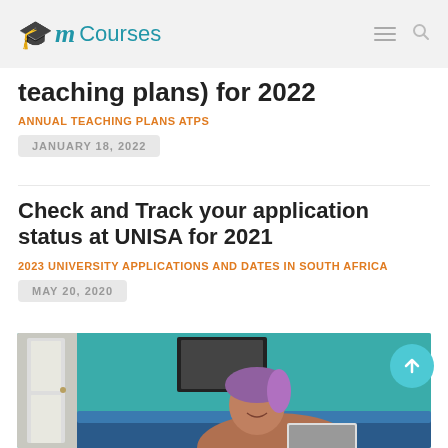My Courses
teaching plans) for 2022
ANNUAL TEACHING PLANS ATPS
JANUARY 18, 2022
Check and Track your application status at UNISA for 2021
2023 UNIVERSITY APPLICATIONS AND DATES IN SOUTH AFRICA
MAY 20, 2020
[Figure (photo): Woman with braids sitting on a teal/blue couch, smiling, working on a laptop]